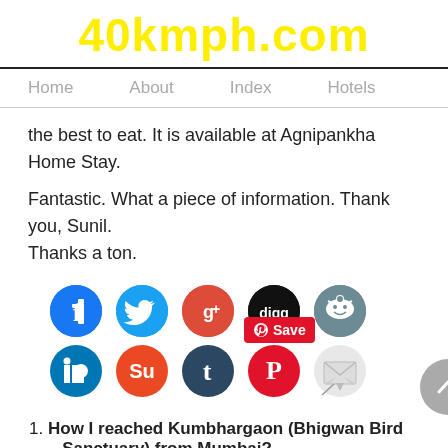40kmph.com
Home    About    Index    Hotels
the best to eat. It is available at Agnipankha Home Stay.
Fantastic. What a piece of information. Thank you, Sunil. Thanks a ton.
[Figure (screenshot): Social media sharing icons row 1: Facebook, Twitter, Google+, Digg, Reddit]
[Figure (screenshot): Social media sharing icons row 2: LinkedIn, StumbleUpon, Tumblr, Pinterest Save button, Email. Also a scroll-to-top button.]
How I reached Kumbhargaon (Bhigwan Bird Sanctuary) from Mumbai?